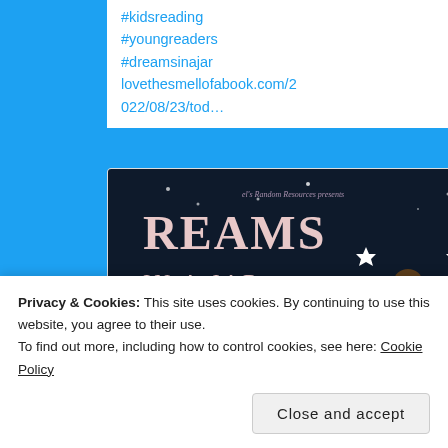#kidsreading #youngreaders #dreamsinajar lovethesmellofabook.com/2022/08/23/tod…
[Figure (illustration): Dreams in a Jar blog tour banner — dark blue background with illustrated girl under a rainbow arch, text: 'DREAMS IN A JAR BLOG TOUR 2nd - 26th August']
lovethesmellofabook.com
Today I am delighted to be reviewing Dreams in a Jar…
Privacy & Cookies: This site uses cookies. By continuing to use this website, you agree to their use.
To find out more, including how to control cookies, see here: Cookie Policy
Close and accept